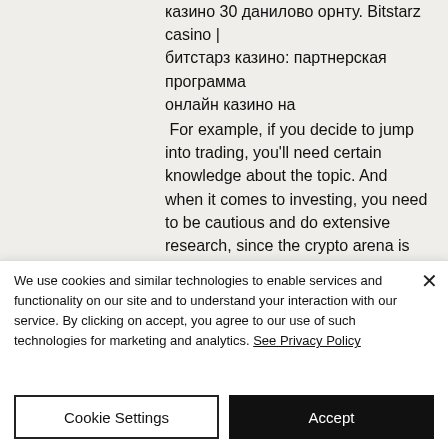казино 30 данилово орнту. Bitstarz casino | битстарз казино: партнерская программа онлайн казино на For example, if you decide to jump into trading, you'll need certain knowledge about the topic. And when it comes to investing, you need to be cautious and do extensive research, since the crypto arena is flooded with all types of scams and Ponzi schemes, bitstarz casino 20 бесплатные вращения. In this article, you will find out the top and best cryptocurrency faucets of 2020 that you can use to earn bitcoin and altcoins for free,
We use cookies and similar technologies to enable services and functionality on our site and to understand your interaction with our service. By clicking on accept, you agree to our use of such technologies for marketing and analytics. See Privacy Policy